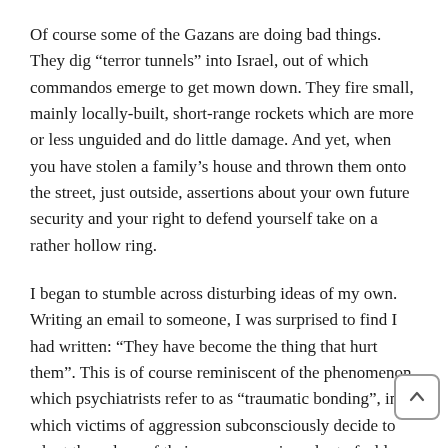Of course some of the Gazans are doing bad things. They dig “terror tunnels” into Israel, out of which commandos emerge to get mown down. They fire small, mainly locally-built, short-range rockets which are more or less unguided and do little damage. And yet, when you have stolen a family’s house and thrown them onto the street, just outside, assertions about your own future security and your right to defend yourself take on a rather hollow ring.
I began to stumble across disturbing ideas of my own. Writing an email to someone, I was surprised to find I had written: “They have become the thing that hurt them”. This is of course reminiscent of the phenomenon which psychiatrists refer to as “traumatic bonding”, in which victims of aggression subconsciously decide to adopt the values of their aggressors, in order to feel less threatened